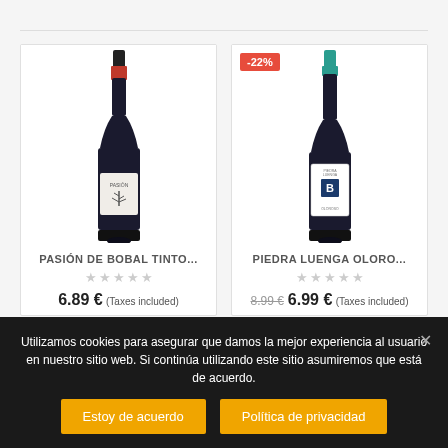[Figure (photo): Wine bottle product image for Pasión de Bobal Tinto - dark red wine bottle with red cap and tree label]
PASIÓN DE BOBAL TINTO...
★★★★★ (empty stars)
6.89 € (Taxes included)
[Figure (photo): Wine bottle product image for Piedra Luenga Oloro... - dark bottle with teal cap and white label with B logo, -22% discount badge]
PIEDRA LUENGA OLORO...
★★★★★ (empty stars)
8.99 € 6.99 € (Taxes included)
Utilizamos cookies para asegurar que damos la mejor experiencia al usuario en nuestro sitio web. Si continúa utilizando este sitio asumiremos que está de acuerdo.
Estoy de acuerdo
Política de privacidad